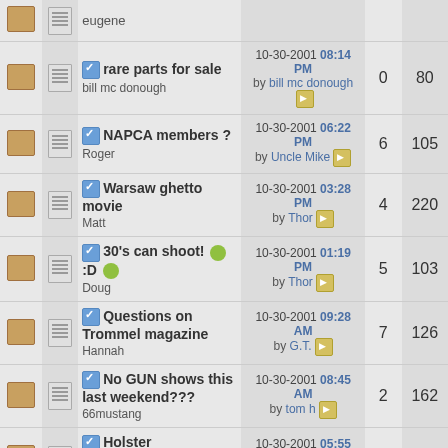|  |  | Topic | Last Post | Replies | Views |
| --- | --- | --- | --- | --- | --- |
|  |  | eugene |  |  |  |
|  |  | rare parts for sale
bill mc donough | 10-30-2001 08:14 PM by bill mc donough | 0 | 80 |
|  |  | NAPCA members ?
Roger | 10-30-2001 06:22 PM by Uncle Mike | 6 | 105 |
|  |  | Warsaw ghetto movie
Matt | 10-30-2001 03:28 PM by Thor | 4 | 220 |
|  |  | 30's can shoot! :D
Doug | 10-30-2001 01:19 PM by Thor | 5 | 103 |
|  |  | Questions on Trommel magazine
Hannah | 10-30-2001 09:28 AM by G.T. | 7 | 126 |
|  |  | No GUN shows this last weekend???
66mustang | 10-30-2001 08:45 AM by tom h | 2 | 162 |
|  |  | Holster Information??
Bart | 10-30-2001 05:55 AM by Ad Yeaman | 2 | 90 |